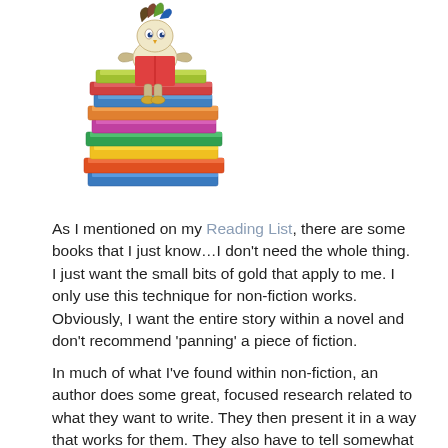[Figure (illustration): Illustration of a child or creature sitting on top of a tall colorful stack of books]
As I mentioned on my Reading List, there are some books that I just know…I don't need the whole thing.  I just want the small bits of gold that apply to me.  I only use this technique for non-fiction works.  Obviously, I want the entire story within a novel and don't recommend 'panning' a piece of fiction.
In much of what I've found within non-fiction, an author does some great, focused research related to what they want to write.  They then present it in a way that works for them.  They also have to tell somewhat of a story with it – present it in a way that flows nicely.